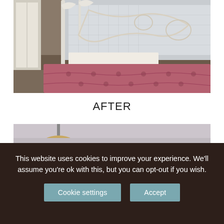[Figure (photo): Photo of a bedroom showing an iron/metal bed frame with rope tied around it, white mattress visible, and a pink tufted ottoman/bench at the foot of the bed. Wooden floor visible.]
AFTER
[Figure (photo): Partial photo of a room after renovation, showing a pendant lamp and light gray walls.]
This website uses cookies to improve your experience. We'll assume you're ok with this, but you can opt-out if you wish.
Cookie settings   Accept